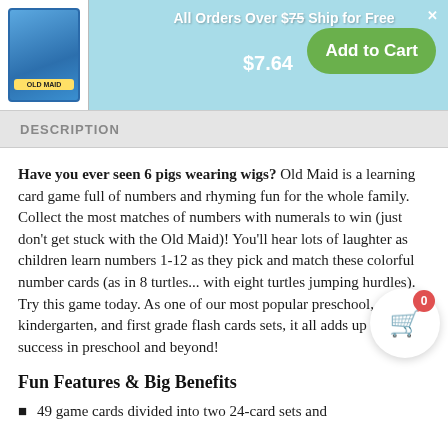All Orders Over $75 Ship for Free
$7.64
Add to Cart
DESCRIPTION
Have you ever seen 6 pigs wearing wigs? Old Maid is a learning card game full of numbers and rhyming fun for the whole family. Collect the most matches of numbers with numerals to win (just don't get stuck with the Old Maid)! You'll hear lots of laughter as children learn numbers 1-12 as they pick and match these colorful number cards (as in 8 turtles... with eight turtles jumping hurdles). Try this game today. As one of our most popular preschool, kindergarten, and first grade flash cards sets, it all adds up to success in preschool and beyond!
Fun Features & Big Benefits
49 game cards divided into two 24-card sets and